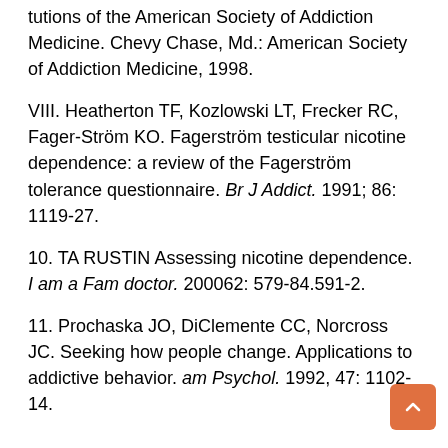tutions of the American Society of Addiction Medicine. Chevy Chase, Md.: American Society of Addiction Medicine, 1998.
VIII. Heatherton TF, Kozlowski LT, Frecker RC, Fager-Ström KO. Fagerström testicular nicotine dependence: a review of the Fagerström tolerance questionnaire. Br J Addict. 1991; 86: 1119-27.
10. TA RUSTIN Assessing nicotine dependence. I am a Fam doctor. 200062: 579-84.591-2.
11. Prochaska JO, DiClemente CC, Norcross JC. Seeking how people change. Applications to addictive behavior. am Psychol. 1992, 47: 1102-14.